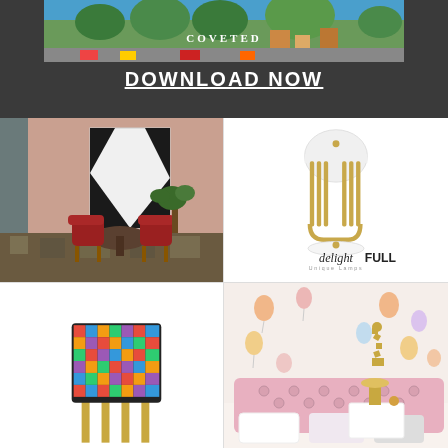[Figure (photo): Dark banner with a colorful illustrated cityscape image at top and COVETED text overlay]
DOWNLOAD NOW
[Figure (photo): Interior design scene with pink walls, red chairs, round table, geometric floor, large abstract black and white wall art]
[Figure (photo): DelightFULL unique lamps product — gold U-shaped table lamp with white dome shade on white background, with DelightFULL Unique Lamps logo below]
[Figure (photo): Colorful geometric patterned cabinet on gold legs against white background]
[Figure (photo): Children's bedroom with pink tufted headboard, gold lamp, hot air balloon wall decals]